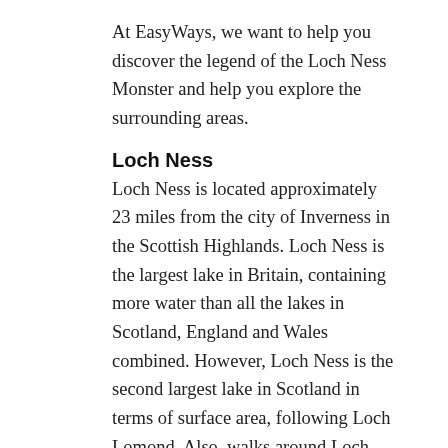At EasyWays, we want to help you discover the legend of the Loch Ness Monster and help you explore the surrounding areas.
Loch Ness
Loch Ness is located approximately 23 miles from the city of Inverness in the Scottish Highlands. Loch Ness is the largest lake in Britain, containing more water than all the lakes in Scotland, England and Wales combined. However, Loch Ness is the second largest lake in Scotland in terms of surface area, following Loch Lomond. Also, walks around Loch Ness are so popular, people always want to explore more!
At 22.5 miles long, a mile and a half wide and 734 feet deep, it's no surprise that the lake holds so much water. With the lake being so big, it's no wonder that so many people believe an ancient creature lurks in the depths of Loch Ness.